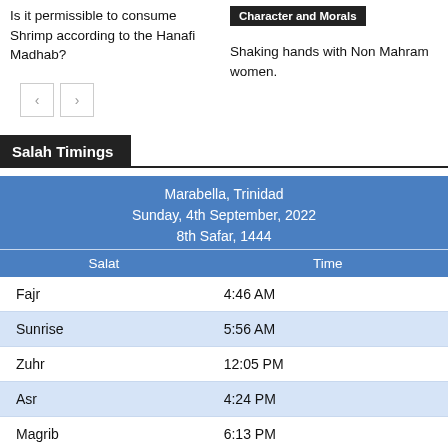Is it permissible to consume Shrimp according to the Hanafi Madhab?
Character and Morals
Shaking hands with Non Mahram women.
Salah Timings
| Salat | Time |
| --- | --- |
| Fajr | 4:46 AM |
| Sunrise | 5:56 AM |
| Zuhr | 12:05 PM |
| Asr | 4:24 PM |
| Magrib | 6:13 PM |
| Isha | 7:24 PM |